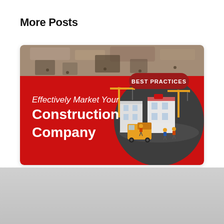More Posts
[Figure (illustration): Blog post card thumbnail for 'Effectively Market Your Construction Company' with a red background, aerial construction site photo strip at top, badge reading 'BEST PRACTICES', italic text 'Effectively Market Your' and bold text 'Construction Company', and an isometric illustration of a construction site with cranes, workers, and vehicles on the right side.]